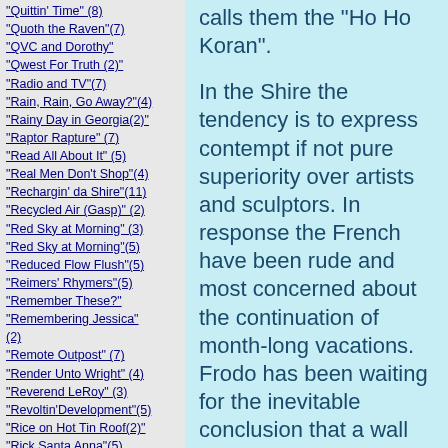"Quittin' Time" (8)
"Quoth the Raven"(7)
"QVC and Dorothy"
"Qwest For Truth (2)"
"Radio and TV"(7)
"Rain, Rain, Go Away?"(4)
"Rainy Day in Georgia(2)"
"Raptor Rapture" (7)
"Read All About It" (5)
"Real Men Don't Shop"(4)
"Rechargin' da Shire"(11)
"Recycled Air (Gasp)" (2)
"Red Sky at Morning" (3)
"Red Sky at Morning"(5)
"Reduced Flow Flush"(5)
"Reimers' Rhymers"(5)
"Remember These?"
"Remembering Jessica" (2)
"Remote Outpost" (7)
"Render Unto Wright" (4)
"Reverend LeRoy" (3)
"Revoltin'Development"(5)
"Rice on Hot Tin Roof(2)"
"Rick Santa Anna"(5)
"Right Not Privilege" (4)
"RNC--2036"(8)
"Road to Damascus"
calls them the "Ho Ho Koran".
In the Shire the tendency is to express contempt if not pure superiority over artists and sculptors.  In response the French have been rude and most concerned about the continuation of month-long vacations.  Frodo has been waiting for the inevitable conclusion that a wall must be built to protect the culture that is France.
There are 5 million in France identified as ethnically-challenged.  This compares to 500,000 thousand Jewish who fear for their lives as a separate entity and who now